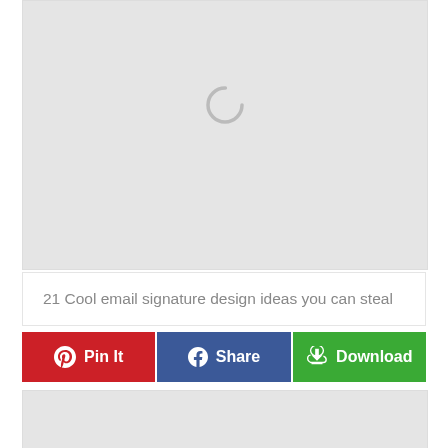[Figure (screenshot): Light gray placeholder image block with a spinning loading circle indicator near the top center]
21 Cool email signature design ideas you can steal
[Figure (screenshot): Row of three action buttons: red Pin It button with Pinterest icon, blue Share button with Facebook icon, and green Download button with cloud/download icon]
[Figure (screenshot): Light gray placeholder image block at bottom, partially visible]